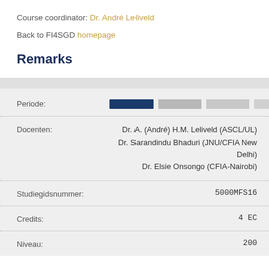Course coordinator: Dr. André Leliveld
Back to FI4SGD homepage
Remarks
| Label | Value |
| --- | --- |
| Periode: | (period bar indicator) |
| Docenten: | Dr. A. (André) H.M. Leliveld (ASCL/UL)
Dr. Sarandindu Bhaduri (JNU/CFIA New Delhi)
Dr. Elsie Onsongo (CFIA-Nairobi) |
| Studiegidsnummer: | 5000MFS16 |
| Credits: | 4 EC |
| Niveau: | 200 |